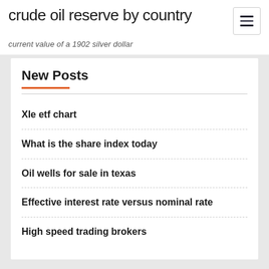crude oil reserve by country
current value of a 1902 silver dollar
New Posts
Xle etf chart
What is the share index today
Oil wells for sale in texas
Effective interest rate versus nominal rate
High speed trading brokers